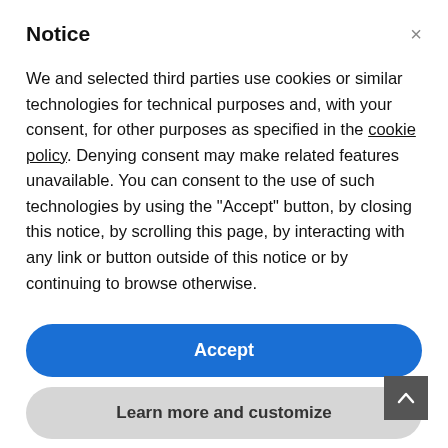Notice
We and selected third parties use cookies or similar technologies for technical purposes and, with your consent, for other purposes as specified in the cookie policy. Denying consent may make related features unavailable. You can consent to the use of such technologies by using the "Accept" button, by closing this notice, by scrolling this page, by interacting with any link or button outside of this notice or by continuing to browse otherwise.
Accept
Learn more and customize
lumine" had entered the Mass.
St John the Evangelist is shown on the right